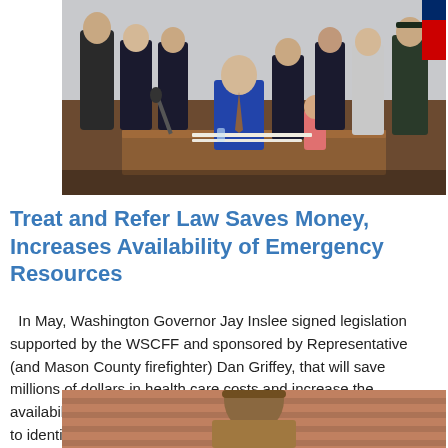[Figure (photo): Group photo of Washington Governor Jay Inslee signing legislation at a desk surrounded by supporters including Representative Dan Griffey and firefighters in uniform]
Treat and Refer Law Saves Money, Increases Availability of Emergency Resources
In May, Washington Governor Jay Inslee signed legislation supported by the WSCFF and sponsored by Representative (and Mason County firefighter) Dan Griffey, that will save millions of dollars in health care costs and increase the availability of emergency resources by helping first responders to identify and connect those who call 911 for non...
[Figure (photo): Partial photo visible at bottom of page showing a person in outdoor/firefighter gear]